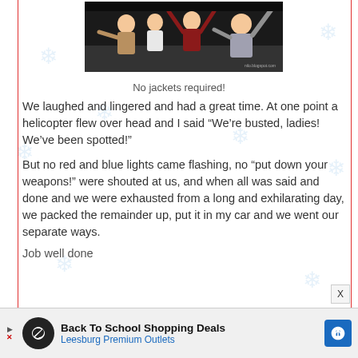[Figure (photo): Four women outdoors at night with arms raised in celebration]
No jackets required!
We laughed and lingered and had a great time.  At one point a helicopter flew over head and I said “We’re busted, ladies!  We’ve been spotted!”
But no red and blue lights came flashing, no “put down your weapons!” were shouted at us, and when all was said and done and we were exhausted from a long and exhilarating day, we packed the remainder up, put it in my car and we went our separate ways.
Job well done
[Figure (screenshot): Advertisement banner: Back To School Shopping Deals - Leesburg Premium Outlets]